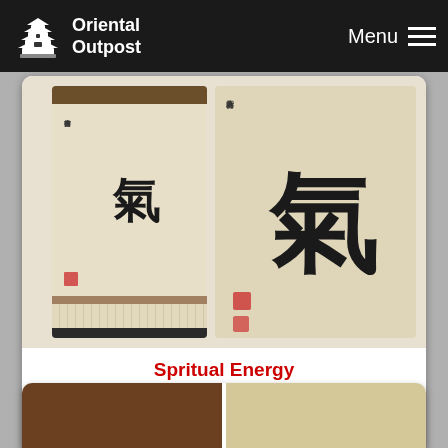Oriental Outpost  Menu
[Figure (photo): Two Chinese/Japanese calligraphy wall scrolls showing the kanji character for 'Qi' (spiritual energy), one showing the full scroll and one a close-up of the character]
Spritual Energy Chinese / Japanese Kanji Wall Scroll
Gallery Price: $126.00
Your Price: $69.88
More Info
[Figure (photo): Partial view of another wall scroll product, brown fabric and parchment visible]